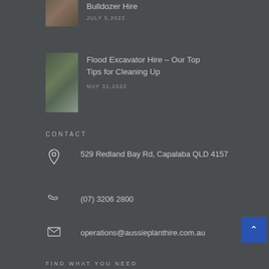[Figure (photo): Thumbnail image of bulldozer/earthmoving equipment]
Bulldozer Hire
JULY 5,2022
[Figure (photo): Thumbnail image of flooded area with excavator or landscape]
Flood Excavator Hire – Our Top Tips for Cleaning Up
MAY 31,2022
CONTACT
529 Redland Bay Rd, Capalaba QLD 4157
(07) 3206 2800
operations@aussieplanthire.com.au
FIND WHAT YOU NEED